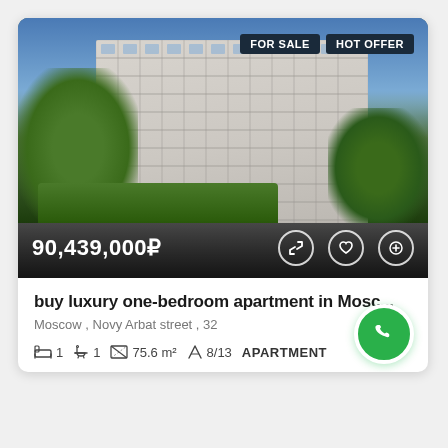[Figure (photo): Exterior photo of a large multi-story luxury apartment building in Moscow, with trees in the foreground, blue sky background. Tags 'FOR SALE' and 'HOT OFFER' in top right corner. Price '90,439,000₽' displayed at bottom left with action icons.]
buy luxury one-bedroom apartment in Mosc...
Moscow , Novy Arbat street , 32
1  1  75.6 m²  8/13  APARTMENT